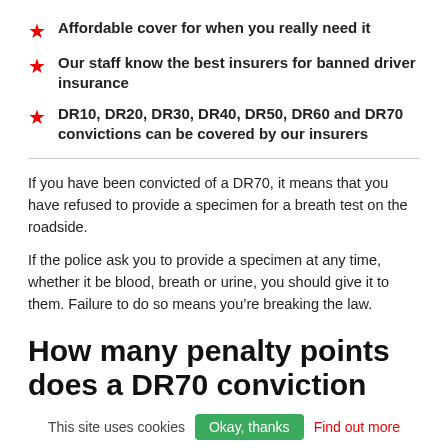Affordable cover for when you really need it
Our staff know the best insurers for banned driver insurance
DR10, DR20, DR30, DR40, DR50, DR60 and DR70 convictions can be covered by our insurers
If you have been convicted of a DR70, it means that you have refused to provide a specimen for a breath test on the roadside.
If the police ask you to provide a specimen at any time, whether it be blood, breath or urine, you should give it to them. Failure to do so means you’re breaking the law.
How many penalty points does a DR70 conviction carry?
Unlike many other drink driving convictions, a DR70 only carries four penalty points on your licence rather than 11. You must tell your insurer about a DR70 conviction for four years, rather than 11. You must tell your insurer about a DR70 conviction for four years.